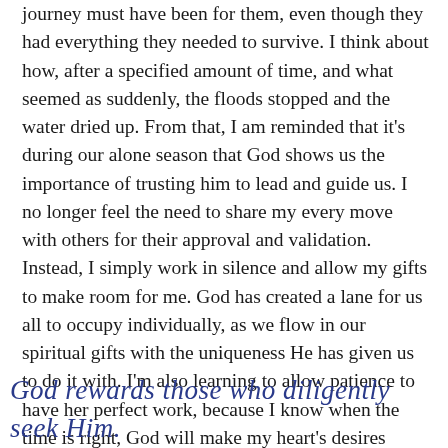journey must have been for them, even though they had everything they needed to survive. I think about how, after a specified amount of time, and what seemed as suddenly, the floods stopped and the water dried up. From that, I am reminded that it's during our alone season that God shows us the importance of trusting him to lead and guide us. I no longer feel the need to share my every move with others for their approval and validation. Instead, I simply work in silence and allow my gifts to make room for me. God has created a lane for us all to occupy individually, as we flow in our spiritual gifts with the uniqueness He has given us to do it with. I'm also learning to allow patience to have her perfect work, because I know when the time is right, God will make my heart's desires happen for me suddenly!
God rewards those who diligently seek Him.